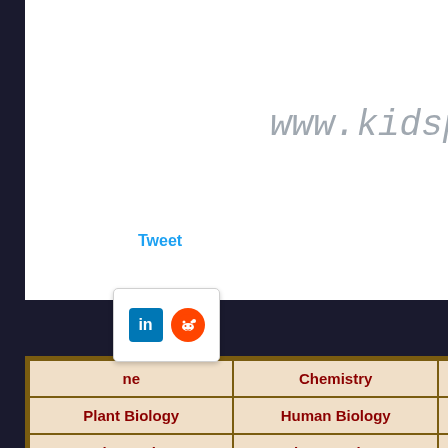www.kidspro
Tweet
[Figure (other): LinkedIn and Reddit social media share icons popup]
| ne | Chemistry |  |
| Plant Biology | Human Biology |  |
| Product Science | Pharmacology | S |
Life by Light